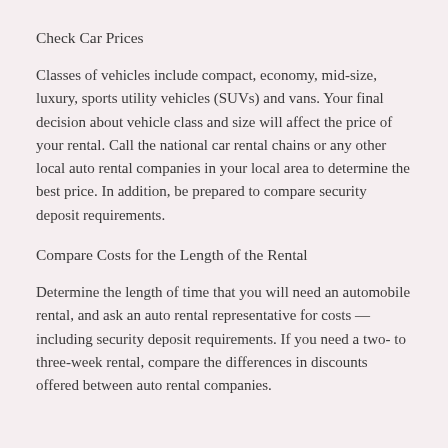Check Car Prices
Classes of vehicles include compact, economy, mid-size, luxury, sports utility vehicles (SUVs) and vans. Your final decision about vehicle class and size will affect the price of your rental. Call the national car rental chains or any other local auto rental companies in your local area to determine the best price. In addition, be prepared to compare security deposit requirements.
Compare Costs for the Length of the Rental
Determine the length of time that you will need an automobile rental, and ask an auto rental representative for costs — including security deposit requirements. If you need a two- to three-week rental, compare the differences in discounts offered between auto rental companies.